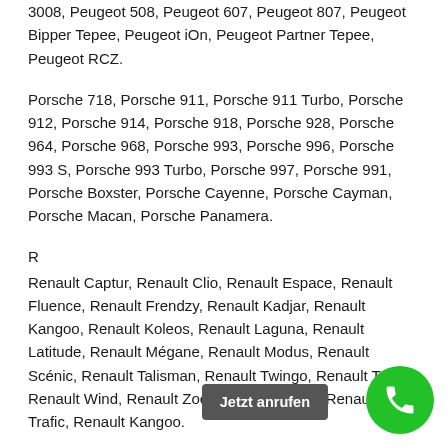3008, Peugeot 508, Peugeot 607, Peugeot 807, Peugeot Bipper Tepee, Peugeot iOn, Peugeot Partner Tepee, Peugeot RCZ.
Porsche 718, Porsche 911, Porsche 911 Turbo, Porsche 912, Porsche 914, Porsche 918, Porsche 928, Porsche 964, Porsche 968, Porsche 993, Porsche 996, Porsche 993 S, Porsche 993 Turbo, Porsche 997, Porsche 991, Porsche Boxster, Porsche Cayenne, Porsche Cayman, Porsche Macan, Porsche Panamera.
R
Renault Captur, Renault Clio, Renault Espace, Renault Fluence, Renault Frendzy, Renault Kadjar, Renault Kangoo, Renault Koleos, Renault Laguna, Renault Latitude, Renault Mégane, Renault Modus, Renault Scénic, Renault Talisman, Renault Twingo, Renault Twizy, Renault Wind, Renault Zoe, Renault Master, Renault Trafic, Renault Kangoo.
Rolls-Royce Ghost, Rolls-Royce Phantom, Rolls-Royce Wraith...